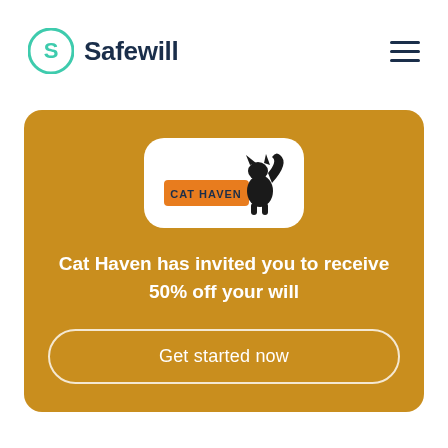Safewill
[Figure (logo): Cat Haven logo: black cat silhouette with an orange text banner reading CAT HAVEN]
Cat Haven has invited you to receive 50% off your will
Get started now